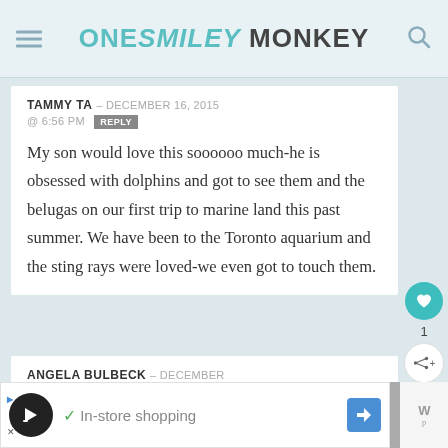ONE SMILEY MONKEY
TAMMY TA – DECEMBER 16, 2015 @ 6:56 PM REPLY
My son would love this soooooo much-he is obsessed with dolphins and got to see them and the belugas on our first trip to marine land this past summer. We have been to the Toronto aquarium and the sting rays were loved-we even got to touch them.
ANGELA BULBECK – DECEMBER 16, 2015 @ 9:03 PM REPLY